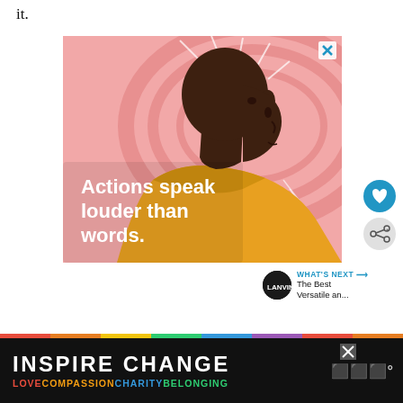it.
[Figure (illustration): Advertisement illustration showing a stylized Black man in a yellow turtleneck sweater viewed from the side, against a pink swirling background. White lines radiate from his head. Text overlay reads 'Actions speak louder than words.' in bold white font. A blue X close button is in the top right corner.]
[Figure (illustration): Heart (like/save) button - blue circle with white heart icon]
[Figure (illustration): Share button - grey circle with share icon]
WHAT'S NEXT → The Best Versatile an...
[Figure (infographic): Bottom banner advertisement: dark background with INSPIRE CHANGE in large white bold letters and rainbow colored text LOVE COMPASSION CHARITY BELONGING below. An X close button and Mastercard logo are visible.]